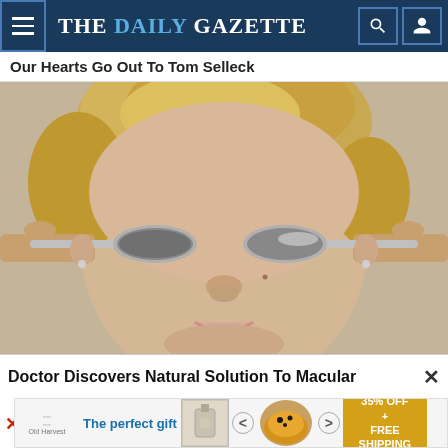THE DAILY GAZETTE
Our Hearts Go Out To Tom Selleck
[Figure (photo): Woman with short blonde hair holding two silver spoons over her eyes like glasses, smiling at camera, against beige background]
Doctor Discovers Natural Solution To Macular
[Figure (infographic): Advertisement banner: The perfect gift - food product with 35% OFF + FREE SHIPPING offer]